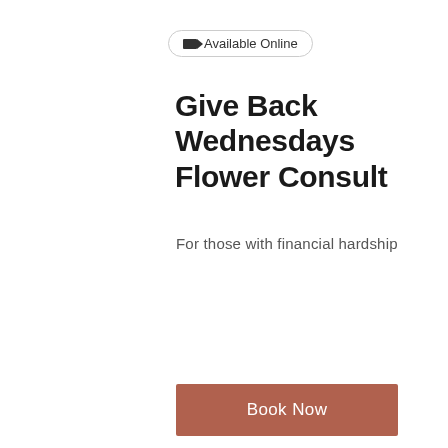Available Online
Give Back Wednesdays Flower Consult
For those with financial hardship
| 45 min | $30 |
Book Now
Service Description